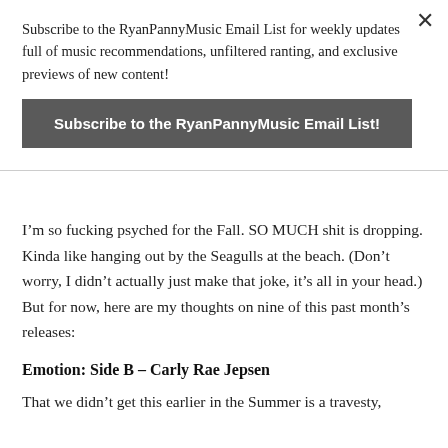Subscribe to the RyanPannyMusic Email List for weekly updates full of music recommendations, unfiltered ranting, and exclusive previews of new content!
Subscribe to the RyanPannyMusic Email List!
I’m so fucking psyched for the Fall. SO MUCH shit is dropping. Kinda like hanging out by the Seagulls at the beach. (Don’t worry, I didn’t actually just make that joke, it’s all in your head.) But for now, here are my thoughts on nine of this past month’s releases:
Emotion: Side B – Carly Rae Jepsen
That we didn’t get this earlier in the Summer is a travesty,